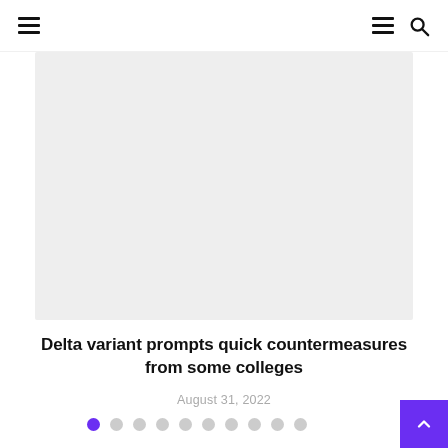Navigation header with hamburger menus and search icon
[Figure (photo): Large grey placeholder image area for article hero image]
Delta variant prompts quick countermeasures from some colleges
August 31, 2022